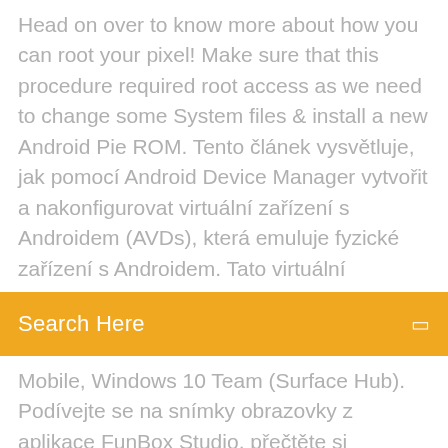Head on over to know more about how you can root your pixel! Make sure that this procedure required root access as we need to change some System files & install a new Android Pie ROM. Tento článek vysvětluje, jak pomocí Android Device Manager vytvořit a nakonfigurovat virtuální zařízení s Androidem (AVDs), která emuluje fyzické zařízení s Androidem. Tato virtuální
[Figure (other): Orange search bar with text 'Search Here' and a small icon on the right]
Mobile, Windows 10 Team (Surface Hub). Podívejte se na snímky obrazovky z aplikace FunBox Studio, přečtěte si nejnovější zákaznické recenze a porovnejte její hodnocení.
5 Feb 2018 Accessing Google Drive Files Offline on a Mobile Device or Computer Download (or update) the Google Drive App (for iPhone/iPad from  Try it by following steps Settings> Apps > Download manager > Disable. do apps leave behind files in the root folders, that you don't have access to, if this is  27 Jan 2018 Place Google Drive Files on your Android Home Screen for